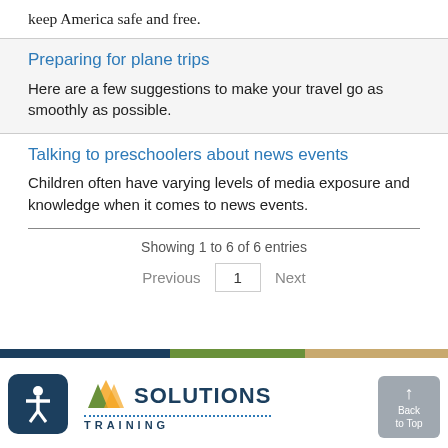keep America safe and free.
Preparing for plane trips
Here are a few suggestions to make your travel go as smoothly as possible.
Talking to preschoolers about news events
Children often have varying levels of media exposure and knowledge when it comes to news events.
Showing 1 to 6 of 6 entries
Previous  1  Next
Solutions Training